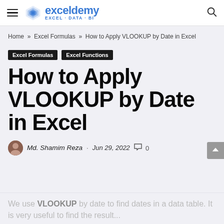exceldemy EXCEL - DATA - BI
Home » Excel Formulas » How to Apply VLOOKUP by Date in Excel
Excel Formulas
Excel Functions
How to Apply VLOOKUP by Date in Excel
Md. Shamim Reza · Jun 29, 2022 · 0
We use VLOOKUP by date to find dates in a data table. It is very useful to find the result...